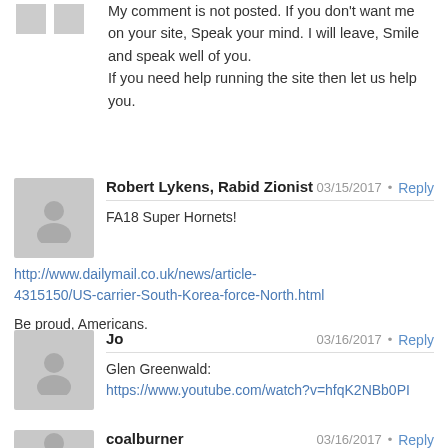My comment is not posted. If you don't want me on your site, Speak your mind. I will leave, Smile and speak well of you.
If you need help running the site then let us help you.
Robert Lykens, Rabid Zionist — 03/15/2017
FA18 Super Hornets!
http://www.dailymail.co.uk/news/article-4315150/US-carrier-South-Korea-force-North.html
Be proud, Americans.
Jo — 03/16/2017
Glen Greenwald:
https://www.youtube.com/watch?v=hfqK2NBb0PI
coalburner — 03/16/2017